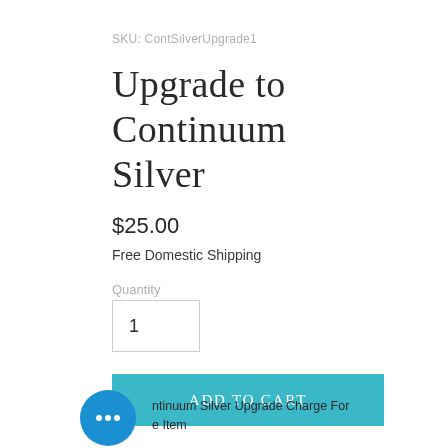SKU: ContSilverUpgrade1
Upgrade to Continuum Silver
$25.00
Free Domestic Shipping
Quantity
1
Add to Cart
Continuum Silver Upgrade Charge For One Item